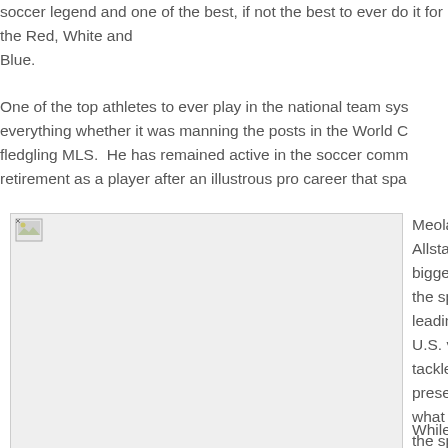soccer legend and one of the best, if not the best to ever do it for the Red, White and Blue.
One of the top athletes to ever play in the national team system, Meola did everything whether it was manning the posts in the World Cup or helping to build the fledgling MLS.  He has remained active in the soccer community since his retirement as a player after an illustrous pro career that spa...
[Figure (photo): Image placeholder showing Tony Meola spending time with Allstate agents.]
Tony Meola spends some time with Allstate agents.
Meola re... Allstate, ... biggest s... the sport... leading u... U.S. vs. ... tackled t... present s... what look... the sport...
While m...